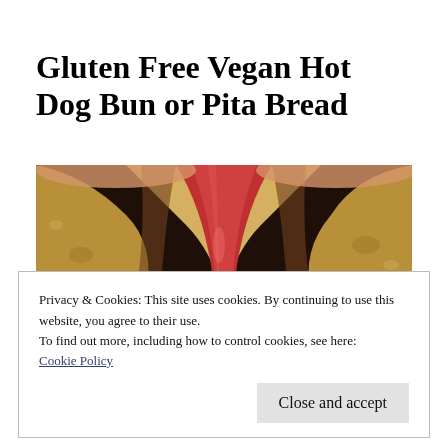Gluten Free Vegan Hot Dog Bun or Pita Bread
[Figure (photo): Close-up photo of a red/pink vegan hot dog sausage nestled inside a split gluten-free pita/bun, showing the bread's rustic texture and the sausage detail.]
Privacy & Cookies: This site uses cookies. By continuing to use this website, you agree to their use.
To find out more, including how to control cookies, see here:
Cookie Policy
Close and accept